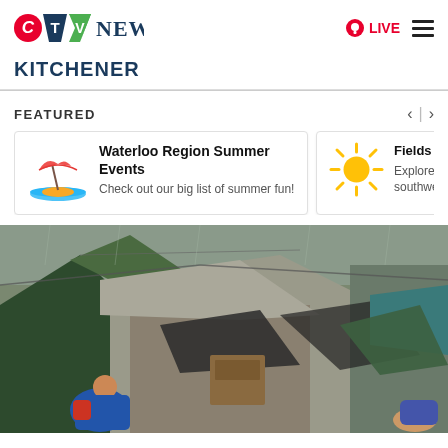[Figure (logo): CTV News logo with red C circle, navy T trapezoid, green V chevron, followed by NEWS text]
LIVE
KITCHENER
FEATURED
Waterloo Region Summer Events
Check out our big list of summer fun!
Fields to
Explore a
southwes
[Figure (photo): Outdoor homeless encampment scene in the rain, showing tents, tarps, and makeshift shelters with people present]